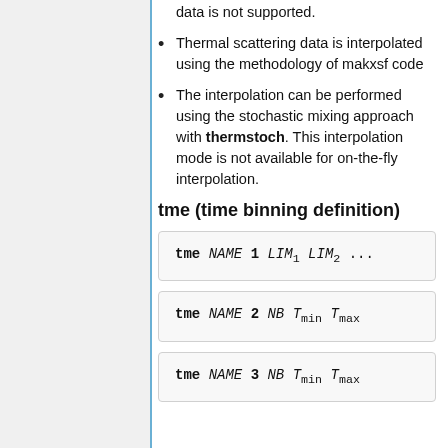data is not supported.
Thermal scattering data is interpolated using the methodology of makxsf code
The interpolation can be performed using the stochastic mixing approach with thermstoch. This interpolation mode is not available for on-the-fly interpolation.
tme (time binning definition)